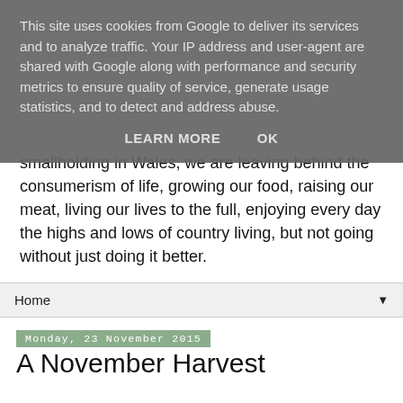This site uses cookies from Google to deliver its services and to analyze traffic. Your IP address and user-agent are shared with Google along with performance and security metrics to ensure quality of service, generate usage statistics, and to detect and address abuse.
LEARN MORE   OK
smallholding in Wales, we are leaving behind the consumerism of life, growing our food, raising our meat, living our lives to the full, enjoying every day the highs and lows of country living, but not going without just doing it better.
Home ▼
Monday, 23 November 2015
A November Harvest
We have had a couple of hard frosts which means its time to harvest